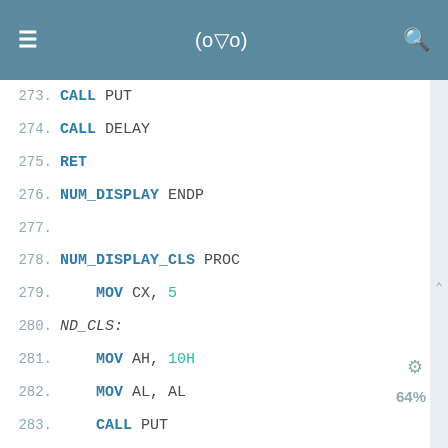≡  (o▽o)  🔍
273.    CALL PUT
274.    CALL DELAY
275.    RET
276. NUM_DISPLAY ENDP
277.
278. NUM_DISPLAY_CLS PROC
279.    MOV CX, 5
280. ND_CLS:
281.    MOV AH, 10H
282.    MOV AL, AL
283.    CALL PUT
284.    LOOP ND_CLS
285.    RET
286. NUM_DISPLAY_CLS ENDP
287.
288. ;; DECREASE SECOND & MIN WHEN NECESSARY
289. DEC_SEC PROC
290.    CMP CNT_STARTED, 0 ;; NOT STARTED
291.    JE DEC_EXIT
292.